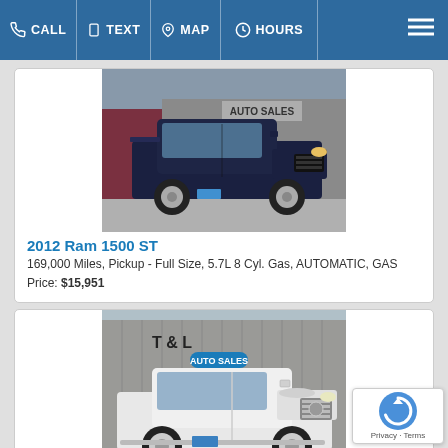CALL | TEXT | MAP | HOURS
[Figure (photo): Dark navy blue 2012 Ram 1500 ST pickup truck parked in front of T&L Auto Sales building]
2012 Ram 1500 ST
169,000 Miles, Pickup - Full Size, 5.7L 8 Cyl. Gas, AUTOMATIC, GAS
Price: $15,951
[Figure (photo): White pickup truck (Ram 1500) parked in front of T&L Auto Sales building]